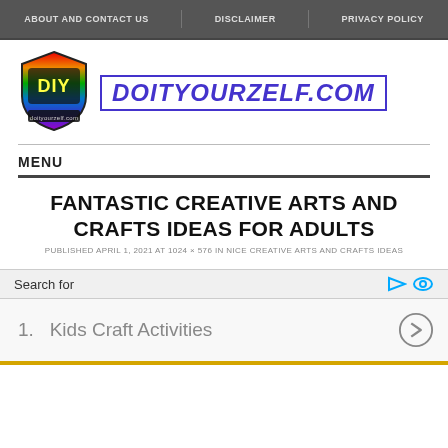ABOUT AND CONTACT US | DISCLAIMER | PRIVACY POLICY
[Figure (logo): DIY doityourzelf.com shield logo with rainbow colors]
DOITYOURZELF.COM
MENU
FANTASTIC CREATIVE ARTS AND CRAFTS IDEAS FOR ADULTS
PUBLISHED APRIL 1, 2021 AT 1024 × 576 IN NICE CREATIVE ARTS AND CRAFTS IDEAS
Search for
1.  Kids Craft Activities